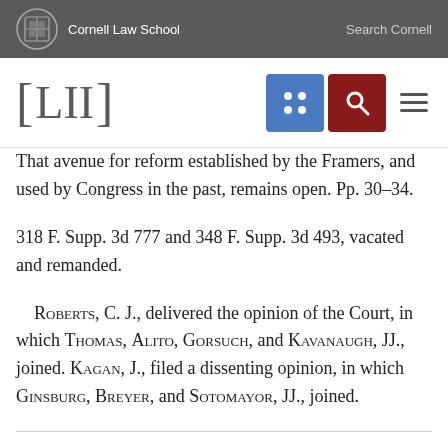Cornell Law School | Search Cornell
That avenue for reform established by the Framers, and used by Congress in the past, remains open. Pp. 30–34.
318 F. Supp. 3d 777 and 348 F. Supp. 3d 493, vacated and remanded.
Roberts, C. J., delivered the opinion of the Court, in which Thomas, Alito, Gorsuch, and Kavanaugh, JJ., joined. Kagan, J., filed a dissenting opinion, in which Ginsburg, Breyer, and Sotomayor, JJ., joined.
Notes
1 Together with No. 18–726, Lamone et al. v. Benisek et al., on appeal from the United States